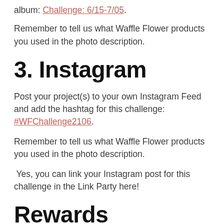album: Challenge: 6/15-7/05.
Remember to tell us what Waffle Flower products you used in the photo description.
3. Instagram
Post your project(s) to your own Instagram Feed and add the hashtag for this challenge: #WFChallenge2106.
Remember to tell us what Waffle Flower products you used in the photo description.
Yes, you can link your Instagram post for this challenge in the Link Party here!
Rewards